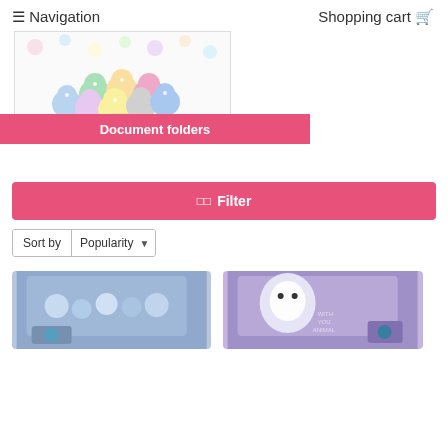≡ Navigation    Shopping cart 🛒
[Figure (illustration): Cute cartoon characters (Sumikko Gurashi style) grouped together on a white background with colorful polka dots]
Document folders
⊞ Filter
Sort by  Popularity ▾